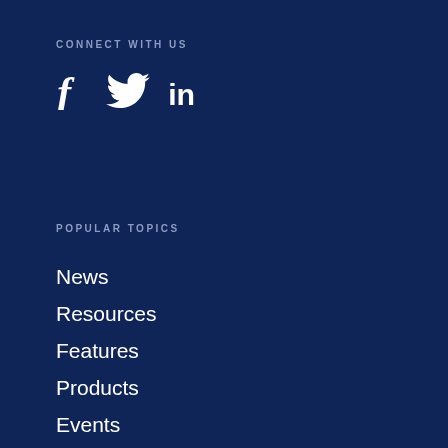CONNECT WITH US
[Figure (illustration): Social media icons: Facebook (f), Twitter (bird), LinkedIn (in)]
POPULAR TOPICS
News
Resources
Features
Products
Events
Companies
ABOUT MHD